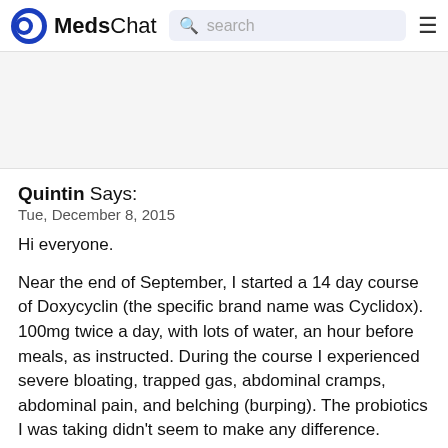MedsChat
Quintin Says:
Tue, December 8, 2015
Hi everyone.
Near the end of September, I started a 14 day course of Doxycyclin (the specific brand name was Cyclidox). 100mg twice a day, with lots of water, an hour before meals, as instructed. During the course I experienced severe bloating, trapped gas, abdominal cramps, abdominal pain, and belching (burping). The probiotics I was taking didn't seem to make any difference.